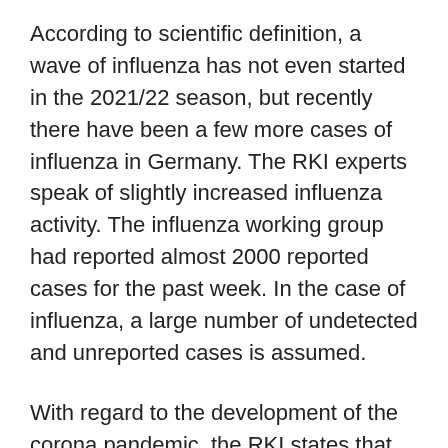According to scientific definition, a wave of influenza has not even started in the 2021/22 season, but recently there have been a few more cases of influenza in Germany. The RKI experts speak of slightly increased influenza activity. The influenza working group had reported almost 2000 reported cases for the past week. In the case of influenza, a large number of undetected and unreported cases is assumed.
With regard to the development of the corona pandemic, the RKI states that the seven-day incidence continued to fall last week: by 13.5 percent compared to the week before. Many indicators of hospital admissions and deaths continue to decline. “The infection pressure remains high with around 400,000 Covid-19 cases reported to the RKI within the last week.”
According to the report, the proportion of the omicron subvariant BA.5 in Germany is now above four out of ten